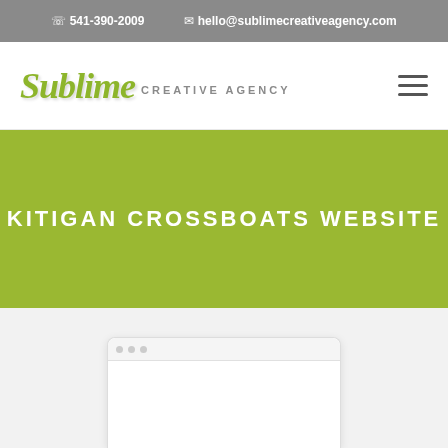541-390-2009   hello@sublimecreativeagency.com
[Figure (logo): Sublime Creative Agency logo — 'Sublime' in green italic script font, 'CREATIVE AGENCY' in small grey uppercase sans-serif]
KITIGAN CROSSBOATS WEBSITE
[Figure (screenshot): Partial screenshot of a website shown inside a mock browser window frame on a light grey background]